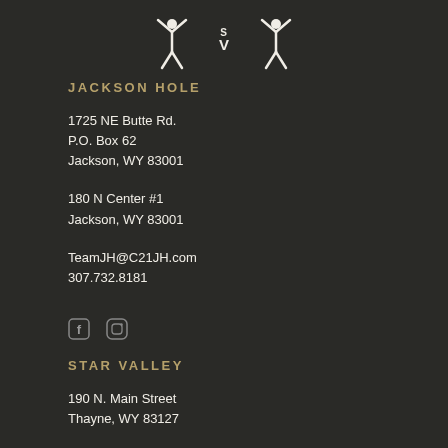[Figure (logo): Star Valley Ranch / Jackson Hole Century 21 stylized logo with SV letters and decorative figures, white on dark background]
JACKSON HOLE
1725 NE Butte Rd.
P.O. Box 62
Jackson, WY 83001
180 N Center #1
Jackson, WY 83001
TeamJH@C21JH.com
307.732.8181
[Figure (other): Social media icons: Facebook and Instagram]
STAR VALLEY
190 N. Main Street
Thayne, WY 83127
150 US HWY #4
Alpine WY 83128